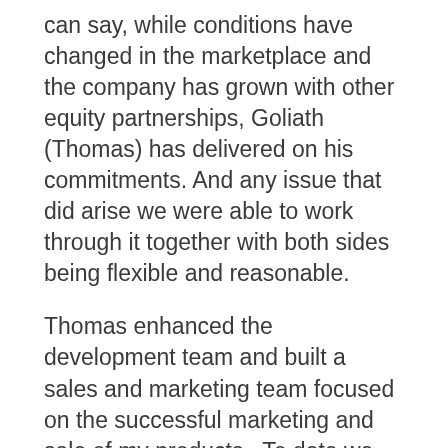can say, while conditions have changed in the marketplace and the company has grown with other equity partnerships, Goliath (Thomas) has delivered on his commitments. And any issue that did arise we were able to work through it together with both sides being flexible and reasonable.
Thomas enhanced the development team and built a sales and marketing team focused on the successful marketing and sale of my products. To date we have added 100's of large enterprise customers, service providers, and millions in non-dilutive revenue. I still have a leadership role with the development team and continue to help guide the evolution and